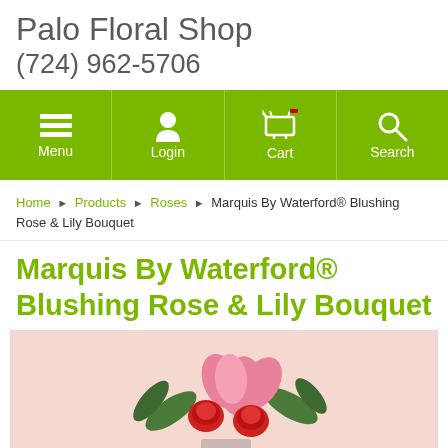Palo Floral Shop
(724) 962-5706
[Figure (screenshot): Navigation bar with green background showing Menu, Login, Cart, and Search icons]
Home › Products › Roses › Marquis By Waterford® Blushing Rose & Lily Bouquet
Marquis By Waterford® Blushing Rose & Lily Bouquet
[Figure (photo): Partial photo of a bouquet with red roses and pink lilies with greenery against a pink background]